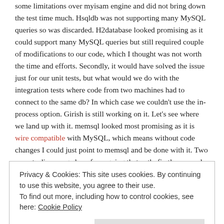some limitations over myisam engine and did not bring down the test time much. Hsqldb was not supporting many MySQL queries so was discarded. H2database looked promising as it could support many MySQL queries but still required couple of modifications to our code, which I thought was not worth the time and efforts. Secondly, it would have solved the issue just for our unit tests, but what would we do with the integration tests where code from two machines had to connect to the same db? In which case we couldn't use the in-process option. Girish is still working on it. Let's see where we land up with it. memsql looked most promising as it is wire compatible with MySQL, which means without code changes I could just point to memsql and be done with it. Two aspects discouraged me from going that path, firstly memsql can only be install on Linux, second I came across the blog MySQL is bazillion times faster than MemSQL
Privacy & Cookies: This site uses cookies. By continuing to use this website, you agree to their use. To find out more, including how to control cookies, see here: Cookie Policy